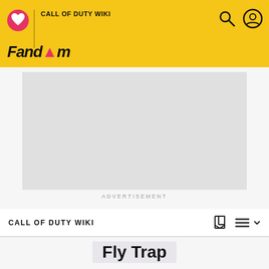Fandom | Call of Duty Wiki
[Figure (screenshot): Advertisement placeholder (gray box)]
ADVERTISEMENT
CALL OF DUTY WIKI
Fly Trap
[Figure (illustration): Row of four small game icon thumbnails for different Call of Duty games]
[Figure (screenshot): Dark green-tinted screenshot showing a creature with spread wings and glowing green light beneath it, from a Call of Duty Zombies level]